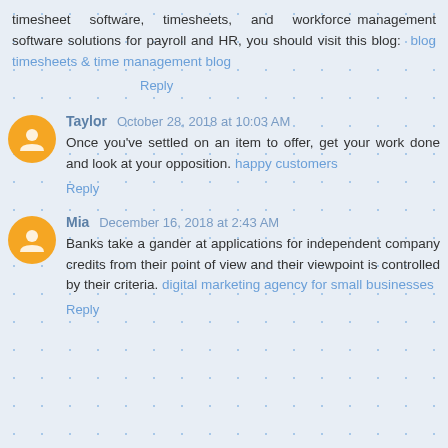timesheet software, timesheets, and workforce management software solutions for payroll and HR, you should visit this blog: blog timesheets & time management blog
Reply
Taylor   October 28, 2018 at 10:03 AM
Once you've settled on an item to offer, get your work done and look at your opposition. happy customers
Reply
Mia   December 16, 2018 at 2:43 AM
Banks take a gander at applications for independent company credits from their point of view and their viewpoint is controlled by their criteria. digital marketing agency for small businesses
Reply